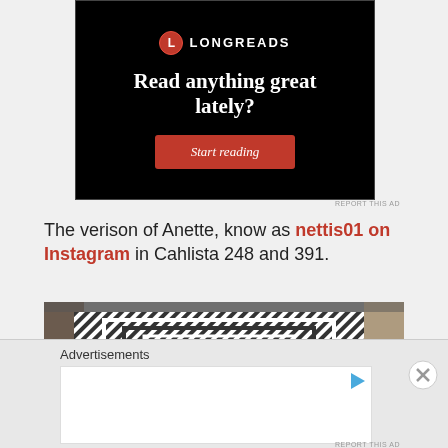[Figure (screenshot): Longreads advertisement banner with black background, Longreads logo at top, headline 'Read anything great lately?', and a red 'Start reading' button]
REPORT THIS AD
The verison of Anette, know as nettis01 on Instagram in Cahlista 248 and 391.
[Figure (photo): Close-up photo of a black and white striped patterned rug or textile with intricate geometric design]
Advertisements
[Figure (screenshot): Advertisement slot with play icon button]
REPORT THIS AD